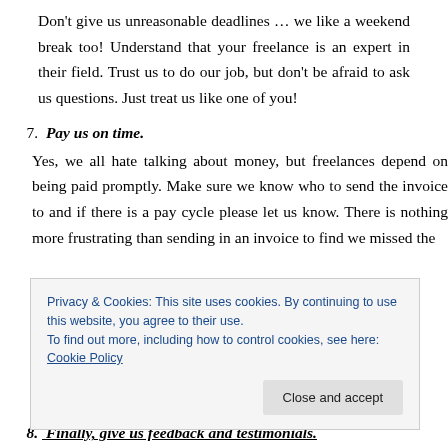Don't give us unreasonable deadlines … we like a weekend break too! Understand that your freelance is an expert in their field. Trust us to do our job, but don't be afraid to ask us questions. Just treat us like one of you!
7. Pay us on time.
Yes, we all hate talking about money, but freelances depend on being paid promptly. Make sure we know who to send the invoice to and if there is a pay cycle please let us know. There is nothing more frustrating than sending in an invoice to find we missed the
Privacy & Cookies: This site uses cookies. By continuing to use this website, you agree to their use.
To find out more, including how to control cookies, see here: Cookie Policy
8. Finally, give us feedback and testimonials.